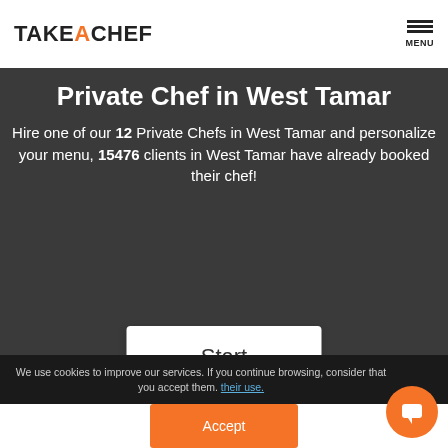TAKEACHEF  MENU
Private Chef in West Tamar
Hire one of our 12 Private Chefs in West Tamar and personalize your menu, 15476 clients in West Tamar have already booked their chef!
Start
We use cookies to improve our services. If you continue browsing, consider that you accept them. their use.
Accept